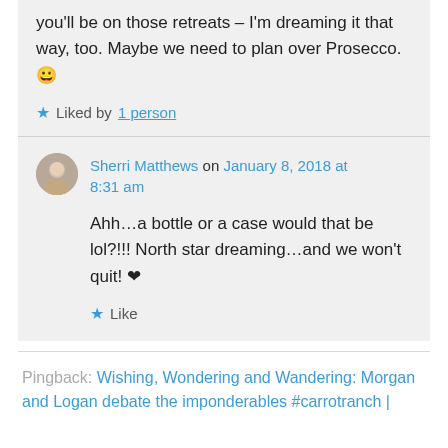you'll be on those retreats – I'm dreaming it that way, too. Maybe we need to plan over Prosecco. 😀
Liked by 1 person
Sherri Matthews on January 8, 2018 at 8:31 am
Ahh…a bottle or a case would that be lol?!!! North star dreaming…and we won't quit! ❤
Like
Pingback: Wishing, Wondering and Wandering: Morgan and Logan debate the imponderables #carrotranch |